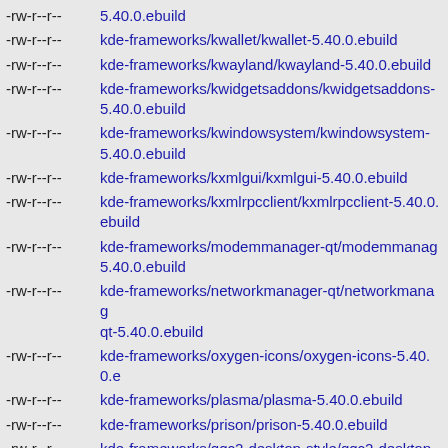-rw-r--r--  5.40.0.ebuild
-rw-r--r--  kde-frameworks/kwallet/kwallet-5.40.0.ebuild
-rw-r--r--  kde-frameworks/kwayland/kwayland-5.40.0.ebuild
-rw-r--r--  kde-frameworks/kwidgetsaddons/kwidgetsaddons-5.40.0.ebuild
-rw-r--r--  kde-frameworks/kwindowsystem/kwindowsystem-5.40.0.ebuild
-rw-r--r--  kde-frameworks/kxmlgui/kxmlgui-5.40.0.ebuild
-rw-r--r--  kde-frameworks/kxmlrpcclient/kxmlrpcclient-5.40.0.ebuild
-rw-r--r--  kde-frameworks/modemmanager-qt/modemmanager-5.40.0.ebuild
-rw-r--r--  kde-frameworks/networkmanager-qt/networkmanager-qt-5.40.0.ebuild
-rw-r--r--  kde-frameworks/oxygen-icons/oxygen-icons-5.40.0.e
-rw-r--r--  kde-frameworks/plasma/plasma-5.40.0.ebuild
-rw-r--r--  kde-frameworks/prison/prison-5.40.0.ebuild
-rw-r--r--  kde-frameworks/qqc2-desktop-style/qqc2-desktop-s 5.40.0.ebuild